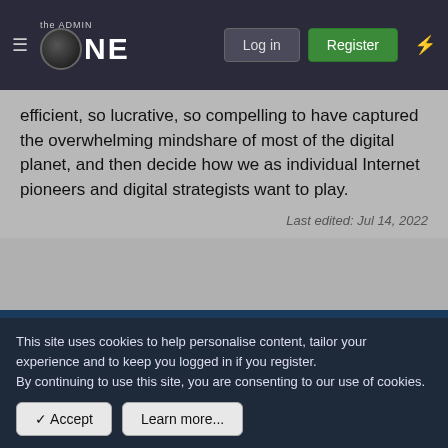[Figure (screenshot): Navigation bar for 'the Admin Zone' website with hamburger menu, logo, Log in button, Register button, and lightning icon]
efficient, so lucrative, so compelling to have captured the overwhelming mindshare of most of the digital planet, and then decide how we as individual Internet pioneers and digital strategists want to play.
Last edited: Jul 14, 2022
Jul 15, 2022  #275
rafalp
Desu Ex
This site uses cookies to help personalise content, tailor your experience and to keep you logged in if you register.
By continuing to use this site, you are consenting to our use of cookies.
✓ Accept
Learn more...